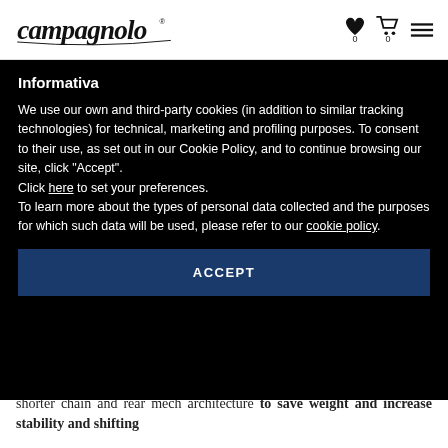[Figure (logo): Campagnolo script logo in black italic]
[Figure (infographic): Heart/wishlist icon with count 0, shopping cart icon with count 0, hamburger menu icon]
Informativa
We use our own and third-party cookies (in addition to similar tracking technologies) for technical, marketing and profiling purposes. To consent to their use, as set out in our Cookie Policy, and to continue browsing our site, click "Accept".
Click here to set your preferences.
To learn more about the types of personal data collected and the purposes for which such data will be used, please refer to our cookie policy
ACCEPT
shorter chain and rear mech architecture to save weight and increase stability and shifting